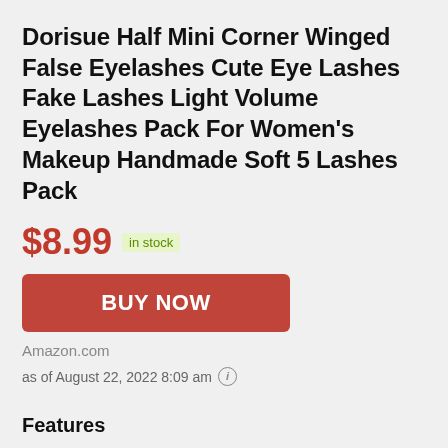Dorisue Half Mini Corner Winged False Eyelashes Cute Eye Lashes Fake Lashes Light Volume Eyelashes Pack For Women's Makeup Handmade Soft 5 Lashes Pack
$8.99 in stock
BUY NOW
Amazon.com
as of August 22, 2022 8:09 am
Features
These Lashes Are Enhance your natural beauty with these Dorisue Lashes. They give you a pretty